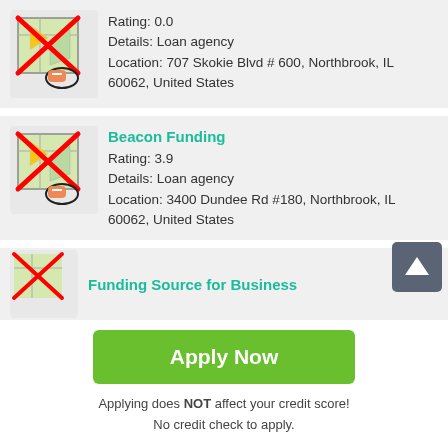[Figure (other): Map pin icon with red X overlay]
Rating: 0.0
Details: Loan agency
Location: 707 Skokie Blvd # 600, Northbrook, IL 60062, United States
[Figure (other): Map pin icon with red X overlay for Beacon Funding]
Beacon Funding
Rating: 3.9
Details: Loan agency
Location: 3400 Dundee Rd #180, Northbrook, IL 60062, United States
[Figure (other): Map pin icon with red X overlay for Funding Source for Business]
Funding Source for Business
Apply Now
Applying does NOT affect your credit score!
No credit check to apply.